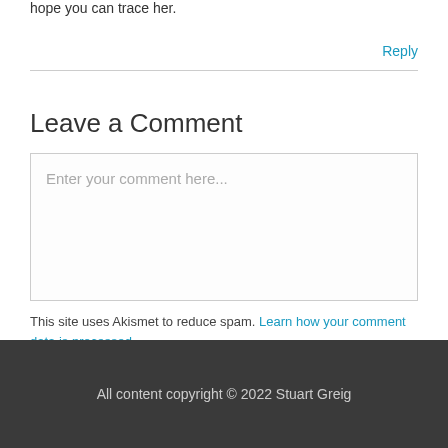hope you can trace her.
Reply
Leave a Comment
Enter your comment here...
This site uses Akismet to reduce spam. Learn how your comment data is processed.
All content copyright © 2022 Stuart Greig